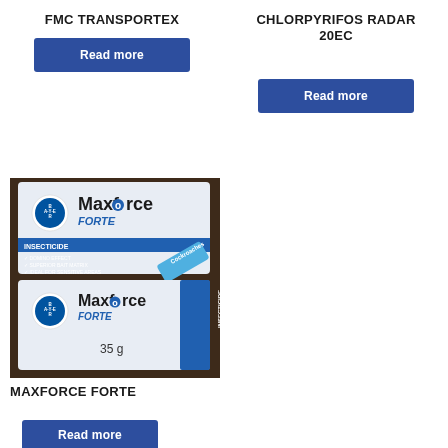FMC TRANSPORTEX
Read more
CHLORPYRIFOS RADAR 20EC
Read more
[Figure (photo): Two boxes of Bayer Maxforce Forte insecticide product stacked on top of each other. The boxes are white and blue, showing the Bayer logo, Maxforce Forte branding, and text about insecticide for cockroaches including features: Domino Effect, Superior Bait Matrix, Ideal for Sensitive Areas. The bottom box shows 35g.]
MAXFORCE FORTE
Read more